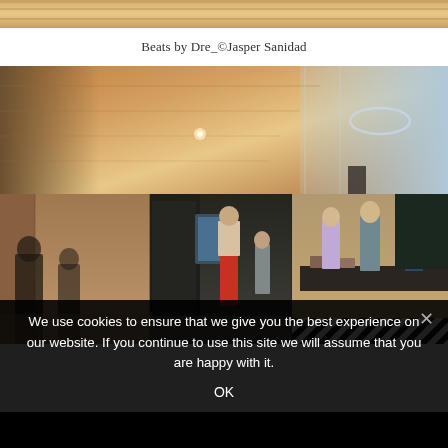[Figure (photo): Top portion of a wooden floor or ceiling, cropped, showing warm wood tones.]
Beats by Dre_©Jasper Sanidad
[Figure (photo): Composite interior architectural photo showing a modern office/workplace. Top section shows a wood-paneled ceiling with glass walls on the right and a circular light fixture. Bottom row shows three panels: left panel with people walking in a corridor with warm wood walls; center panel showing a dark modern corridor with a person in red pants; right panel showing a cafe/kitchen area with people and a black-and-white striped floor.]
We use cookies to ensure that we give you the best experience on our website. If you continue to use this site we will assume that you are happy with it.
OK